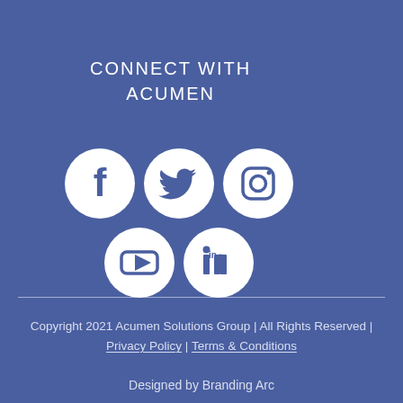CONNECT WITH ACUMEN
[Figure (illustration): Five social media icons in white circles on blue background: Facebook, Twitter, Instagram (top row), YouTube, LinkedIn (bottom row)]
Copyright 2021 Acumen Solutions Group | All Rights Reserved | Privacy Policy | Terms & Conditions
Designed by Branding Arc